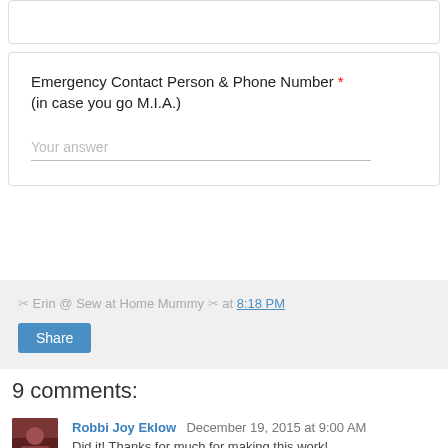Emergency Contact Person & Phone Number * (in case you go M.I.A.)
Your answer
✂ Erin @ Sew at Home Mummy ✂ at 8:18 PM
Share
9 comments:
Robbi Joy Eklow  December 19, 2015 at 9:00 AM
Did it! Thanks for much for making this work!